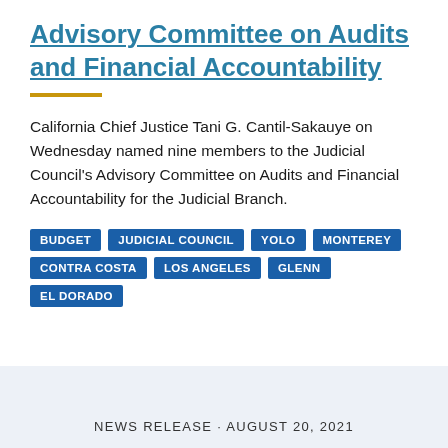Advisory Committee on Audits and Financial Accountability
California Chief Justice Tani G. Cantil-Sakauye on Wednesday named nine members to the Judicial Council's Advisory Committee on Audits and Financial Accountability for the Judicial Branch.
BUDGET
JUDICIAL COUNCIL
YOLO
MONTEREY
CONTRA COSTA
LOS ANGELES
GLENN
EL DORADO
NEWS RELEASE · AUGUST 20, 2021